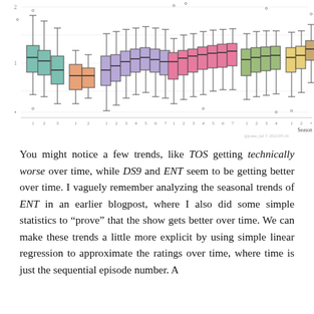[Figure (continuous-plot): Box-and-whisker plots showing episode ratings by season for multiple Star Trek series (TOS, TAS, TNG, DS9, VOY, ENT, and others), with episodes on x-axis grouped by season and series, ratings on y-axis. Each series shown in a different color (teal, orange, purple, pink, light green, yellow, tan). X-axis label: Season. Watermark text visible at bottom right.]
You might notice a few trends, like TOS getting technically worse over time, while DS9 and ENT seem to be getting better over time. I vaguely remember analyzing the seasonal trends of ENT in an earlier blogpost, where I also did some simple statistics to "prove" that the show gets better over time. We can make these trends a little more explicit by using simple linear regression to approximate the ratings over time, where time is just the sequential episode number. A